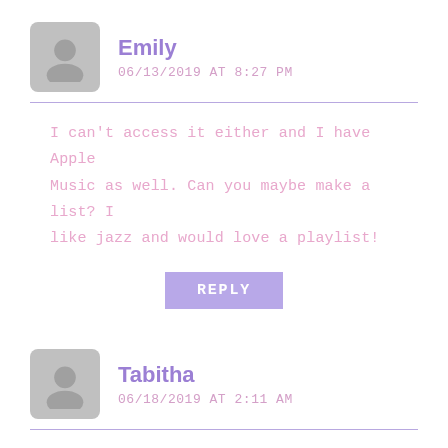Emily
06/13/2019 AT 8:27 PM
I can't access it either and I have Apple Music as well. Can you maybe make a list? I like jazz and would love a playlist!
REPLY
Tabitha
06/18/2019 AT 2:11 AM
I cannot access either and I have apply music?